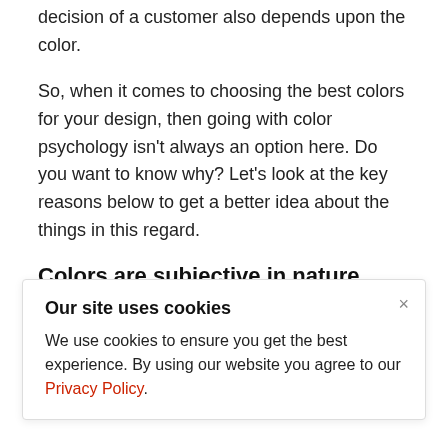decision of a customer also depends upon the color.
So, when it comes to choosing the best colors for your design, then going with color psychology isn't always an option here. Do you want to know why? Let's look at the key reasons below to get a better idea about the things in this regard.
Colors are subjective in nature.
Color is subjective means that color is more
Our site uses cookies
We use cookies to ensure you get the best experience. By using our website you agree to our Privacy Policy.
color when it's about to convey your message.